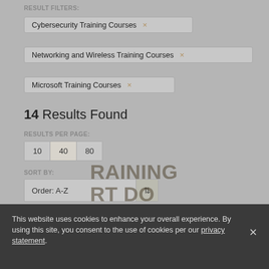RESULT FILTERS:
Cybersecurity Training Courses ×
Networking and Wireless Training Courses ×
Microsoft Training Courses ×
14 Results Found
RESULTS PER PAGE:
10  40  80
SORT BY:
Order: A-Z
This website uses cookies to enhance your overall experience. By using this site, you consent to the use of cookies per our privacy statement.